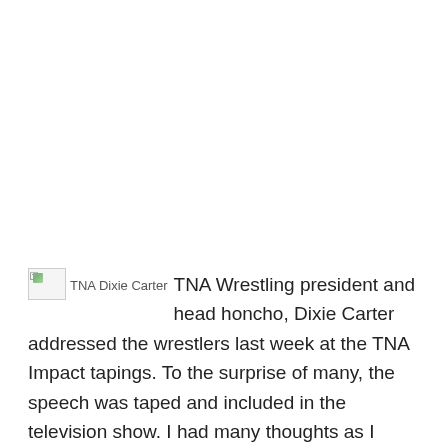TNA Wrestling president and head honcho, Dixie Carter addressed the wrestlers last week at the TNA Impact tapings. To the surprise of many, the speech was taped and included in the television show. I had many thoughts as I watched the speech and the looks on the faces of the talent told the story. In the end a great speech does not make a great pro wrestling company, and Dixie Carter is no Paul Heyman.